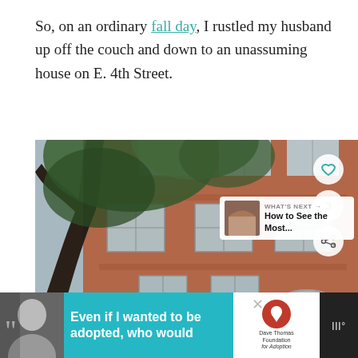So, on an ordinary fall day, I rustled my husband up off the couch and down to an unassuming house on E. 4th Street.
[Figure (photo): Exterior of a red brick building on E. 4th Street, partially obscured by a large tree in the foreground with green leaves. The building has multiple rows of windows. Social media UI elements (heart, count '3', share button) are overlaid on the right side. A 'What's Next' thumbnail overlay appears in the lower right.]
[Figure (infographic): Advertisement banner at bottom: cyan/teal background with a black-and-white photo of a woman on the left, bold white text reading 'Even if I wanted to be adopted, who would', a Dave Thomas Foundation for Adoption logo, a close button (X), and a TV logo on the far right.]